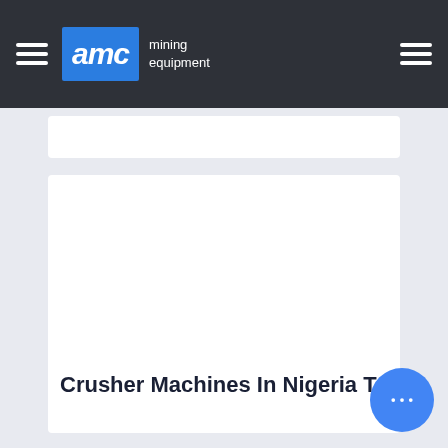AMC mining equipment
[Figure (screenshot): White content card area (partially visible at top)]
[Figure (screenshot): Main white content card area (large empty white box)]
Crusher Machines In Nigeria Tp